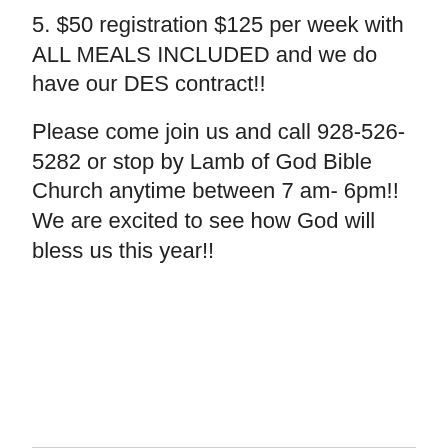5. $50 registration $125 per week with ALL MEALS INCLUDED and we do have our DES contract!!
Please come join us and call 928-526-5282 or stop by Lamb of God Bible Church anytime between 7 am- 6pm!! We are excited to see how God will bless us this year!!